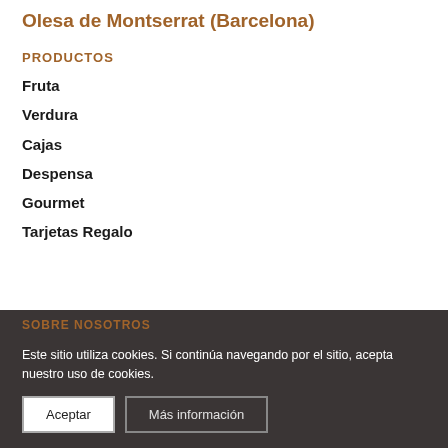Olesa de Montserrat (Barcelona)
PRODUCTOS
Fruta
Verdura
Cajas
Despensa
Gourmet
Tarjetas Regalo
SOBRE NOSOTROS
Nuestras tiendas
Nuestro compro
Nuestra filosofía
Este sitio utiliza cookies. Si continúa navegando por el sitio, acepta nuestro uso de cookies.